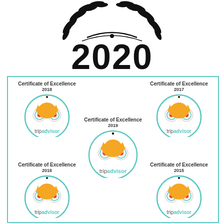[Figure (logo): TripAdvisor 2020 Travelers Choice award — laurel wreath above the year 2020 in bold black text]
[Figure (illustration): Collection of TripAdvisor Certificate of Excellence badges for years 2015, 2016, 2017, 2018, and 2019, each showing the TripAdvisor owl logo in a teal circle with the certificate text above. Arranged in a bordered teal rectangle.]